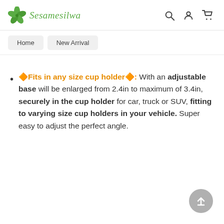Sesamesilwa [logo] [search icon] [account icon] [cart icon]
Home   New Arrival
🔶Fits in any size cup holder🔶: With an adjustable base will be enlarged from 2.4in to maximum of 3.4in, securely in the cup holder for car, truck or SUV, fitting to varying size cup holders in your vehicle. Super easy to adjust the perfect angle.